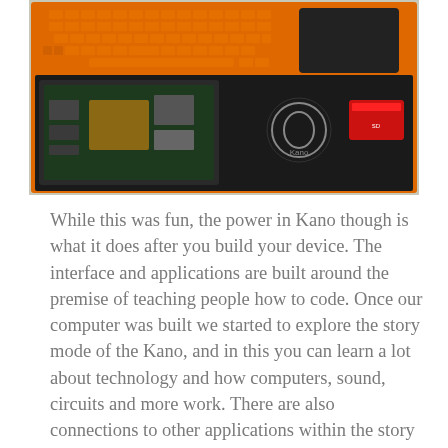[Figure (photo): A Kano computer kit in its orange packaging, showing an orange keyboard with trackpad, a Raspberry Pi circuit board in a clear case, the Kano logo, and a red SD card box, all set against a black foam interior.]
While this was fun, the power in Kano though is what it does after you build your device. The interface and applications are built around the premise of teaching people how to code. Once our computer was built we started to explore the story mode of the Kano, and in this you can learn a lot about technology and how computers, sound, circuits and more work. There are also connections to other applications within the story mode and in these